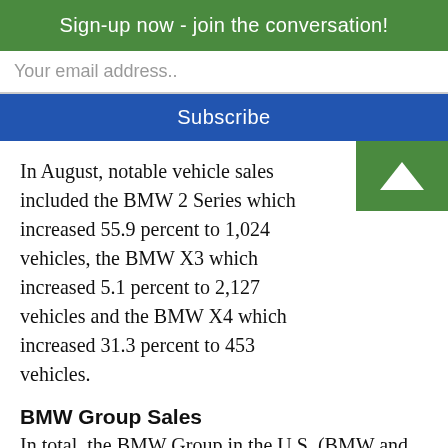Sign-up now - join the conversation!
Your email address..
Subscribe
In August, notable vehicle sales included the BMW 2 Series which increased 55.9 percent to 1,024 vehicles, the BMW X3 which increased 5.1 percent to 2,127 vehicles and the BMW X4 which increased 31.3 percent to 453 vehicles.
BMW Group Sales
In total, the BMW Group in the U.S. (BMW and MINI combined) reportedAugust sales of 32,864 vehicles, an increase of 2.0 percent from the 32,219 vehicles sold in the same month a year ago.  Year-to-date, BMW Group sales are 263,908 vehicles, a 7.3 percent increase from the same period last year.